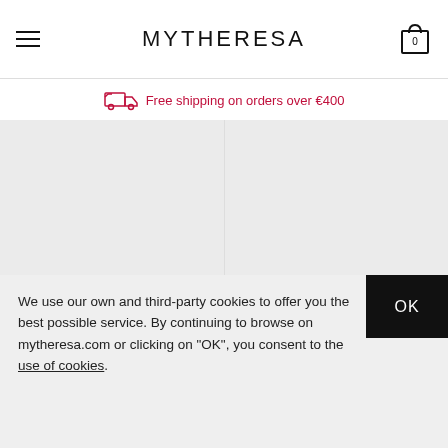MYTHERESA
Free shipping on orders over €400
[Figure (photo): Product image placeholder for LOEWE item, left column]
LOEWE
€ 1,650
[Figure (photo): Product image placeholder for LOEWE item, right column]
LOEWE
€ 170
We use our own and third-party cookies to offer you the best possible service. By continuing to browse on mytheresa.com or clicking on "OK", you consent to the use of cookies.